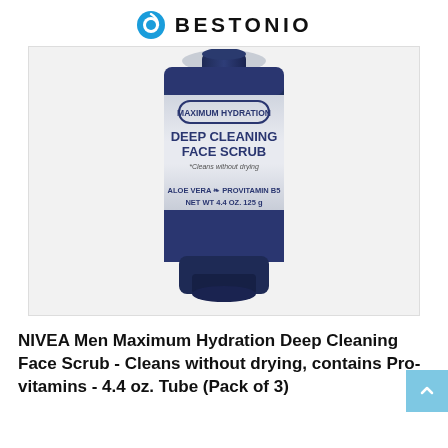BESTONIO
[Figure (photo): NIVEA Men Maximum Hydration Deep Cleaning Face Scrub tube product photo. Dark navy blue squeeze tube with white label. Shows 'MAXIMUM HYDRATION' text in badge, 'DEEP CLEANING FACE SCRUB', 'Cleans without drying', 'ALOE VERA PROVITAMIN B5', 'NET WT 4.4 OZ. 125 g']
NIVEA Men Maximum Hydration Deep Cleaning Face Scrub - Cleans without drying, contains Pro-vitamins - 4.4 oz. Tube (Pack of 3)